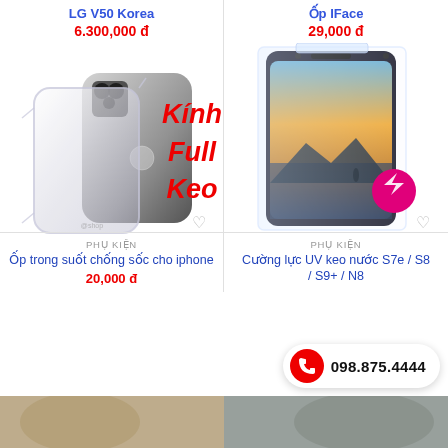LG V50 Korea
6.300,000 đ
Ốp IFace
29,000 đ
[Figure (photo): Clear transparent iPhone case shown from back angle]
Kính
Full
Keo
[Figure (photo): Samsung Galaxy Note 8 with UV tempered glass screen protector, messenger icon badge]
PHỤ KIỆN
Ốp trong suốt chống sốc cho iphone
20,000 đ
PHỤ KIỆN
Cường lực UV keo nước S7e / S8 / S9+ / N8
098.875.4444